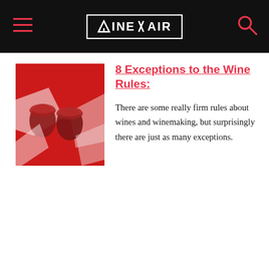VINEPAIR
[Figure (photo): Red wine glasses on a red background, top-down view]
8 Exceptions to the Wine Rules:
There are some really firm rules about wines and winemaking, but surprisingly there are just as many exceptions.